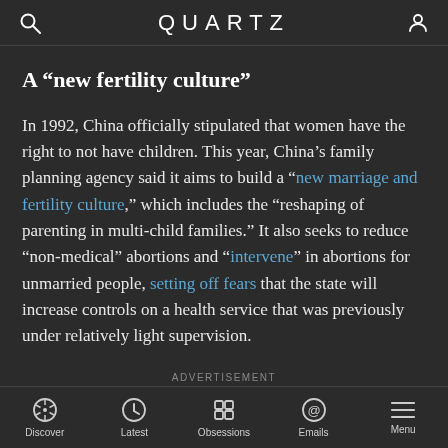QUARTZ
A “new fertility culture”
In 1992, China officially stipulated that women have the right to not have children. This year, China’s family planning agency said it aims to build a “new marriage and fertility culture,” which includes the “reshaping of parenting in multi-child families.” It also seeks to reduce “non-medical” abortions and “intervene” in abortions for unmarried people, setting off fears that the state will increase controls on a health service that was previously under relatively light supervision.
ADVERTISEMENT
Discover | Latest | Obsessions | Emails | Menu